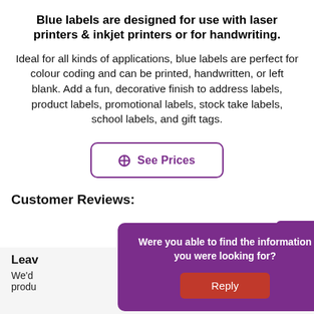Blue labels are designed for use with laser printers & inkjet printers or for handwriting.
Ideal for all kinds of applications, blue labels are perfect for colour coding and can be printed, handwritten, or left blank. Add a fun, decorative finish to address labels, product labels, promotional labels, stock take labels, school labels, and gift tags.
See Prices
Customer Reviews:
Were you able to find the information you were looking for?
Reply